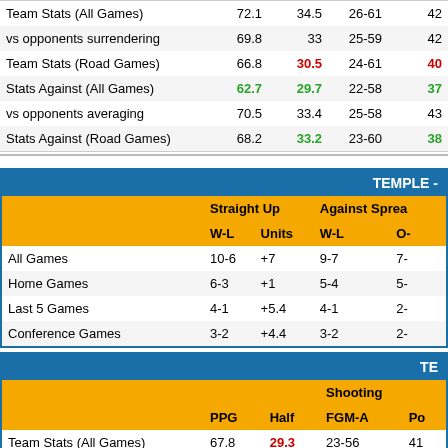|  | PPG | Half | W-L | O- |
| --- | --- | --- | --- | --- |
| Team Stats (All Games) | 72.1 | 34.5 | 26-61 | 42 |
| vs opponents surrendering | 69.8 | 33 | 25-59 | 42 |
| Team Stats (Road Games) | 66.8 | 30.5 | 24-61 | 40 |
| Stats Against (All Games) | 62.7 | 29.7 | 22-58 | 37 |
| vs opponents averaging | 70.5 | 33.4 | 25-58 | 43 |
| Stats Against (Road Games) | 68.2 | 33.2 | 23-60 | 38 |
TEMPLE -
|  | Straight Up W-L | Straight Up Units | Against Spread W-L | O- |
| --- | --- | --- | --- | --- |
| All Games | 10-6 | +7 | 9-7 | 7- |
| Home Games | 6-3 | +1 | 5-4 | 5- |
| Last 5 Games | 4-1 | +5.4 | 4-1 | 2- |
| Conference Games | 3-2 | +4.4 | 3-2 | 2- |
TE
|  | PPG | Half | Shooting FGM-A | Po |
| --- | --- | --- | --- | --- |
| Team Stats (All Games) | 67.8 | 29.3 | 23-56 | 41 |
| vs opponents surrendering | 67.8 | 31.7 | 24-57 | 42 |
| Team Stats (Home Games) | 71.6 | 31.0 | 25-59 | 42 |